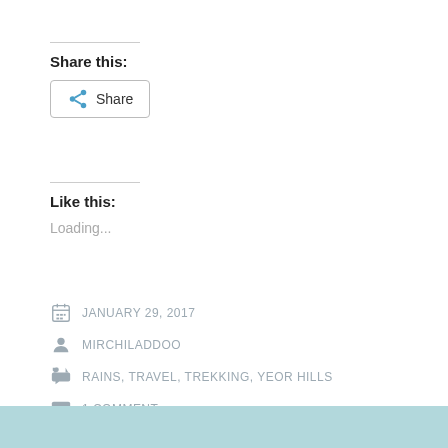Share this:
[Figure (other): Share button with share icon]
Like this:
Loading...
JANUARY 29, 2017
MIRCHILADDOO
RAINS, TRAVEL, TREKKING, YEOR HILLS
1 COMMENT